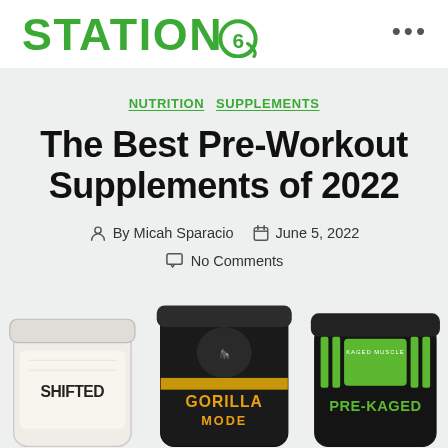STATION 6 (logo)
NUTRITION  SUPPLEMENTS
The Best Pre-Workout Supplements of 2022
By Micah Sparacio  June 5, 2022
No Comments
[Figure (photo): Three pre-workout supplement containers: SHIFTED (white tub), GORILLA MODE (black tub with gold stripe), and PRE-KAGED by Kaged Muscle (black tub with green label)]